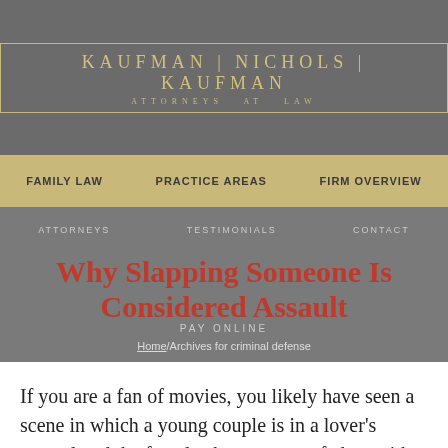[Figure (logo): Kaufman | Nichols | Kaufman — Attorneys at Law logo on grey banner background]
FAMILY LAW   PRACTICE AREAS   FIRM OVERVIEW
Why Slapping Someone Is Considered Assault
Home/Archives for criminal defense
If you are a fan of movies, you likely have seen a scene in which a young couple is in a lover's quarrel and the female character gets fed up with